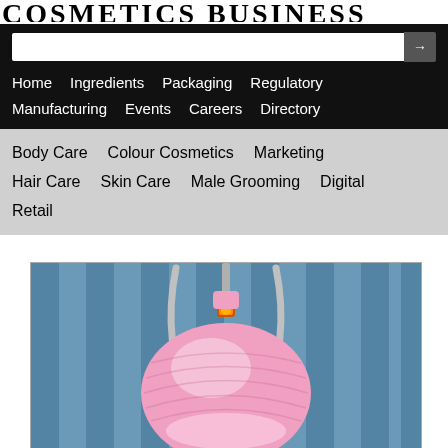COSMETICS BUSINESS
Home   Ingredients   Packaging   Regulatory   Manufacturing   Events   Careers   Directory
Body Care   Colour Cosmetics   Marketing   Hair Care   Skin Care   Male Grooming   Digital   Retail
[Figure (photo): Pink salon-style hair dryer hood on a chrome stand against a blue striped background]